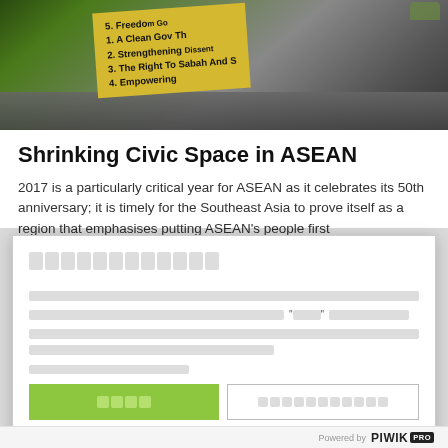[Figure (photo): Protest photo showing people holding a yellow sign with text: 'Freedom... A Clean Gov... Strengthening Th... The Right To Dissent... Empowering Sabah And S...' with numbered points 1-4 visible]
Shrinking Civic Space in ASEAN
2017 is a particularly critical year for ASEAN as it celebrates its 50th anniversary; it is timely for the Southeast Asia to prove itself as a region that emphasises putting ASEAN's people first
[Thai script title]
[Thai script body text with quoted word in middle]
[Thai script link text]
[Thai script agree button] | [Thai script decline button]
Powered by PIWIK PRO